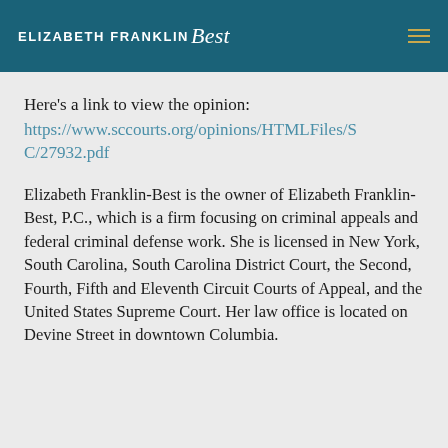ELIZABETH FRANKLIN Best
Here's a link to view the opinion: https://www.sccourts.org/opinions/HTMLFiles/SC/27932.pdf
Elizabeth Franklin-Best is the owner of Elizabeth Franklin-Best, P.C., which is a firm focusing on criminal appeals and federal criminal defense work. She is licensed in New York, South Carolina, South Carolina District Court, the Second, Fourth, Fifth and Eleventh Circuit Courts of Appeal, and the United States Supreme Court. Her law office is located on Devine Street in downtown Columbia.